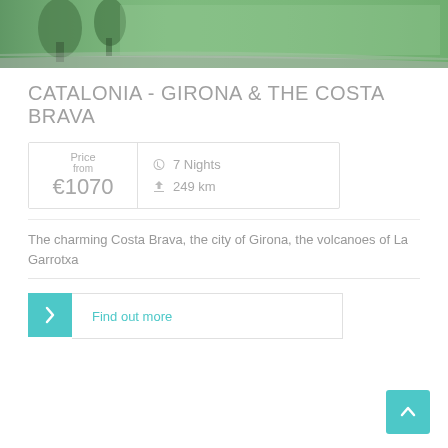[Figure (photo): Outdoor landscape photo showing a rural road with green fields and trees]
CATALONIA - GIRONA & THE COSTA BRAVA
Price from €1070  ☽ 7 Nights  ✈ 249 km
The charming Costa Brava, the city of Girona, the volcanoes of La Garrotxa
Find out more